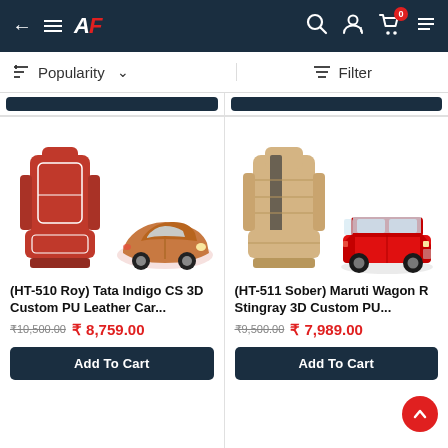AF - AutoFurnish app header with back arrow, menu, logo, search, account, cart (0)
Popularity ▾   Filter
[Figure (photo): Red PU leather car seat cover with white piping on left, orange Tata Indigo CS sedan car on right]
(HT-510 Roy) Tata Indigo CS 3D Custom PU Leather Car...
₹10,500.00  ₹ 8,759.00
Add To Cart
[Figure (photo): Beige/cream PU leather car seat cover with dark stripe on left, red Maruti Wagon R Stingray hatchback on right]
(HT-511 Sober) Maruti Wagon R Stingray 3D Custom PU...
₹9,500.00  ₹ 7,989.00
Add To Cart